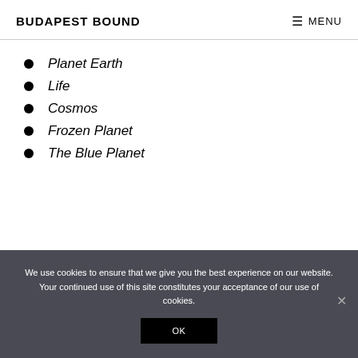BUDAPEST BOUND   MENU
Planet Earth
Life
Cosmos
Frozen Planet
The Blue Planet
We use cookies to ensure that we give you the best experience on our website. Your continued use of this site constitutes your acceptance of our use of cookies.